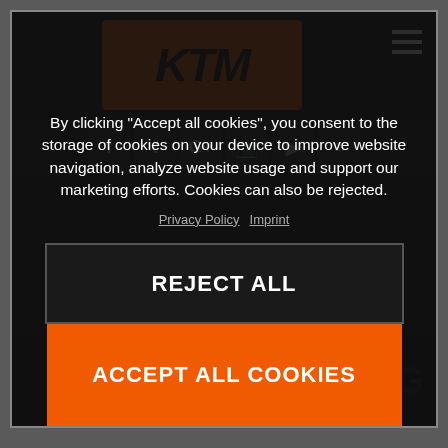[Figure (screenshot): KTM website with cookie consent overlay on dark background. Shows KTM orange logo at top, hamburger menu icon top right, social media icons row, and cookie consent dialog with Reject All and Accept All Cookies buttons.]
By clicking “Accept all cookies”, you consent to the storage of cookies on your device to improve website navigation, analyze website usage and support our marketing efforts. Cookies can also be rejected.
Privacy Policy  Imprint
REJECT ALL
ACCEPT ALL COOKIES